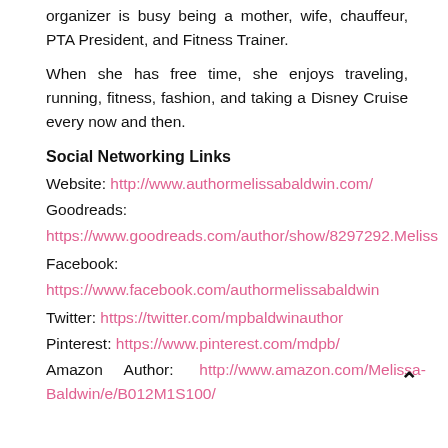organizer is busy being a mother, wife, chauffeur, PTA President, and Fitness Trainer.
When she has free time, she enjoys traveling, running, fitness, fashion, and taking a Disney Cruise every now and then.
Social Networking Links
Website: http://www.authormelissabaldwin.com/
Goodreads: https://www.goodreads.com/author/show/8297292.Meliss
Facebook: https://www.facebook.com/authormelissabaldwin
Twitter: https://twitter.com/mpbaldwinauthor
Pinterest: https://www.pinterest.com/mdpb/
Amazon Author: http://www.amazon.com/Melissa-Baldwin/e/B012M1S100/